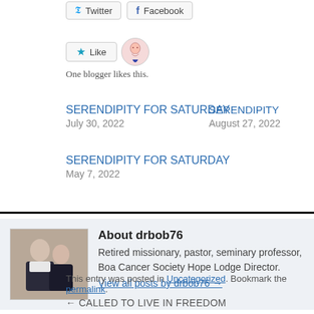[Figure (other): Social share buttons: Twitter and Facebook]
[Figure (other): Like button with star icon, and a blogger avatar icon. Text: One blogger likes this.]
One blogger likes this.
SERENDIPITY FOR SATURDAY
July 30, 2022
SERENDIPITY
August 27, 2022
SERENDIPITY FOR SATURDAY
May 7, 2022
About drbob76
Retired missionary, pastor, seminary professor, Boa Cancer Society Hope Lodge Director.
View all posts by drbob76 →
This entry was posted in Uncategorized. Bookmark the permalink.
CALLED TO LIVE IN FREEDOM